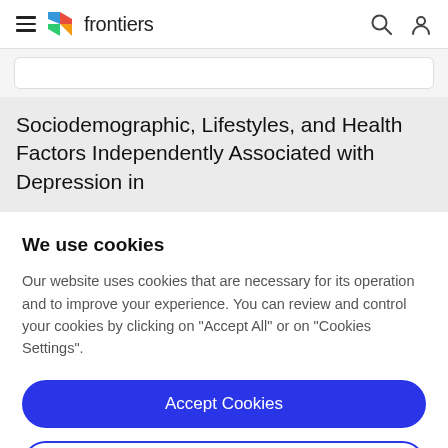frontiers
Sociodemographic, Lifestyles, and Health Factors Independently Associated with Depression in
We use cookies
Our website uses cookies that are necessary for its operation and to improve your experience. You can review and control your cookies by clicking on "Accept All" or on "Cookies Settings".
Accept Cookies
Cookies Settings